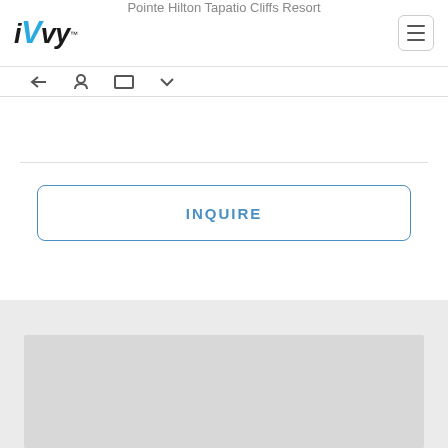iVvy — Pointe Hilton Tapatio Cliffs Resort
[Figure (screenshot): Navigation icon bar with small icons (back arrow, person, rectangle/table, down arrow)]
[Figure (infographic): INQUIRE button — outlined blue rounded-rectangle button with text INQUIRE]
[Figure (photo): Light grey placeholder box in a grey section at the bottom of the page]